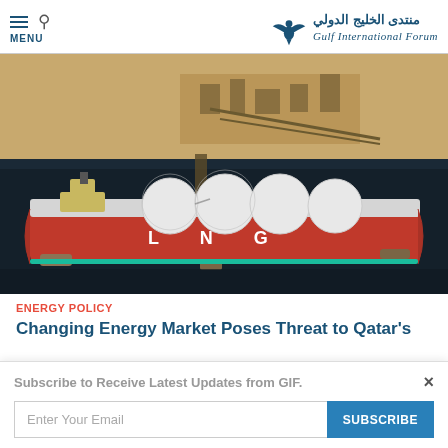Gulf International Forum
[Figure (photo): Aerial photograph of an LNG tanker ship docked at a coastal industrial facility, showing the red-hulled vessel with 'LNG' written on its side and large white spherical tanks, connected to a pipeline extending to onshore infrastructure with desert terrain.]
ENERGY POLICY
Changing Energy Market Poses Threat to Qatar's
Subscribe to Receive Latest Updates from GIF.